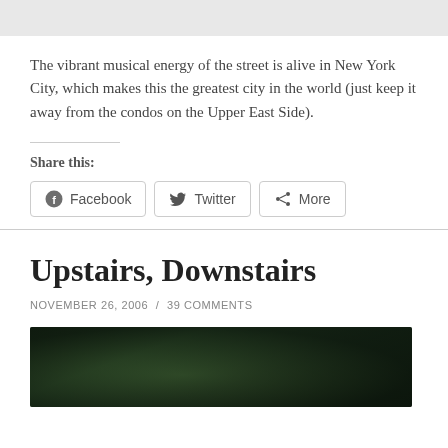[Figure (photo): Top image bar, partially visible, light gray background]
The vibrant musical energy of the street is alive in New York City, which makes this the greatest city in the world (just keep it away from the condos on the Upper East Side).
Share this:
[Figure (other): Social share buttons: Facebook, Twitter, More]
Upstairs, Downstairs
NOVEMBER 26, 2006 / 39 COMMENTS
[Figure (photo): Dark forest or wooded scene, partially visible at bottom of page]